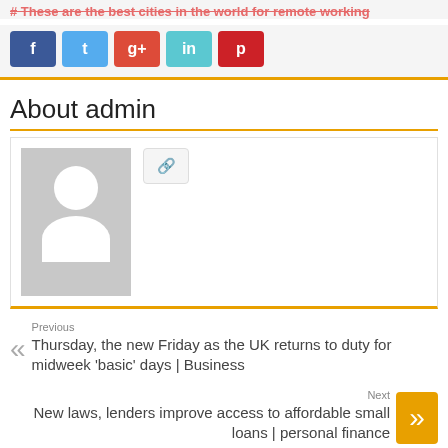# These are the best cities in the world for remote working
[Figure (infographic): Social share buttons: Facebook (blue), Twitter (light blue), Google+ (red/orange), LinkedIn (teal), Pinterest (red)]
About admin
[Figure (photo): Default admin avatar - grey placeholder image with white silhouette person icon, plus a website link button]
Previous
Thursday, the new Friday as the UK returns to duty for midweek 'basic' days | Business
Next
New laws, lenders improve access to affordable small loans | personal finance